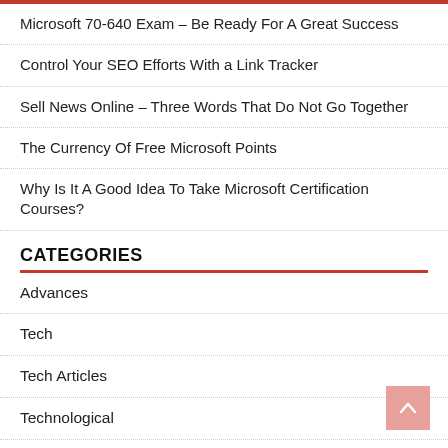Microsoft 70-640 Exam – Be Ready For A Great Success
Control Your SEO Efforts With a Link Tracker
Sell News Online – Three Words That Do Not Go Together
The Currency Of Free Microsoft Points
Why Is It A Good Idea To Take Microsoft Certification Courses?
CATEGORIES
Advances
Tech
Tech Articles
Technological
Technological Advances
Article About Technology